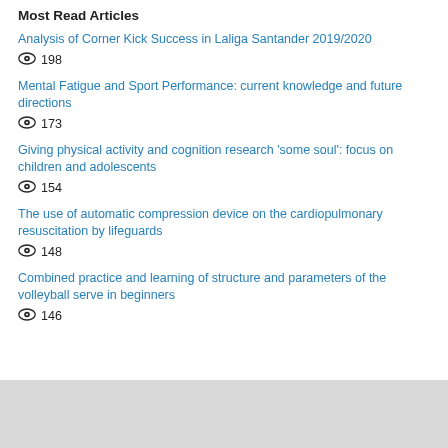Most Read Articles
Analysis of Corner Kick Success in Laliga Santander 2019/2020
👁 198
Mental Fatigue and Sport Performance: current knowledge and future directions
👁 173
Giving physical activity and cognition research 'some soul': focus on children and adolescents
👁 154
The use of automatic compression device on the cardiopulmonary resuscitation by lifeguards
👁 148
Combined practice and learning of structure and parameters of the volleyball serve in beginners
👁 146